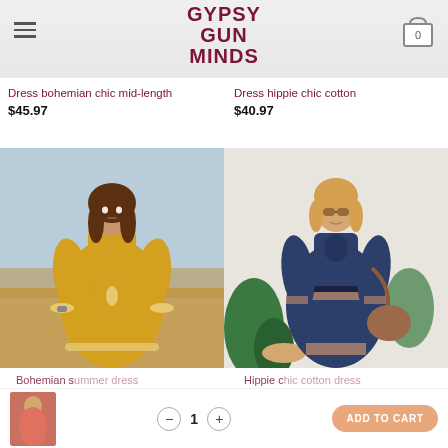GYPSY GUN MINDS
Dress bohemian chic mid-length
$45.97
Dress hippie chic cotton
$40.97
[Figure (photo): Woman wearing yellow/mustard bohemian dress in wheat field]
[Figure (photo): Woman wearing navy blue hippie chic cotton dress outdoors]
Bohemian summer dress
$50.97
Hippie chic cotton dress
[Figure (photo): Small thumbnail of red dress]
ADD TO CART